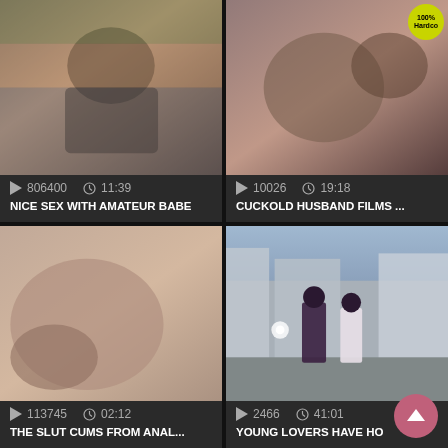[Figure (photo): Video thumbnail 1 - intimate scene]
806400  11:39
NICE SEX WITH AMATEUR BABE
[Figure (photo): Video thumbnail 2 - close-up scene with 100% Hardcore badge]
10026  19:18
CUCKOLD HUSBAND FILMS ...
[Figure (photo): Video thumbnail 3 - close-up scene]
113745  02:12
THE SLUT CUMS FROM ANAL...
[Figure (photo): Video thumbnail 4 - two women walking outdoors]
2466  41:01
YOUNG LOVERS HAVE HO...